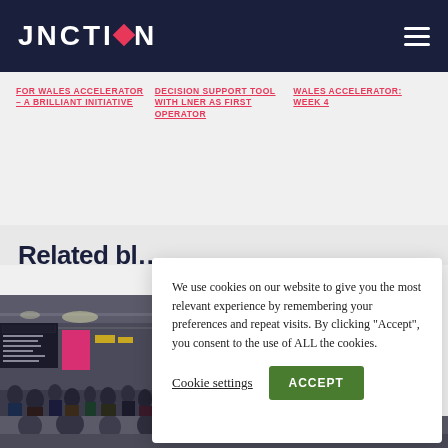JNCTION
FOR WALES ACCELERATOR – A BRILLIANT INITIATIVE
DECISION SUPPORT TOOL WITH LNER AS FIRST OPERATOR
WALES ACCELERATOR: WEEK 4
Related bl…
[Figure (photo): Station concourse with crowd of people and departure boards]
We use cookies on our website to give you the most relevant experience by remembering your preferences and repeat visits. By clicking "Accept", you consent to the use of ALL the cookies.
Cookie settings
ACCEPT